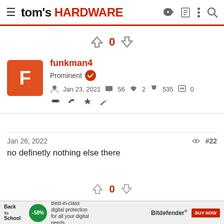tom's HARDWARE
[Figure (infographic): Vote up/down arrows with count 0 (red)]
[Figure (infographic): User profile card: avatar F (orange), username funkman4 (red), role Prominent, joined Jan 23 2021, 56 messages, 2 likes, 535 trophy points, 0 posts, badge icons]
Jan 26, 2022    #22
no definetly nothing else there
[Figure (infographic): Vote up/down arrows with count 0 (red)]
[Figure (infographic): Advertisement banner: Back to School -58% Bitdefender digital protection BUY NOW]